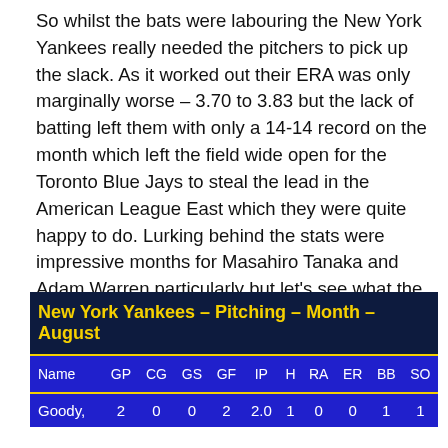So whilst the bats were labouring the New York Yankees really needed the pitchers to pick up the slack. As it worked out their ERA was only marginally worse – 3.70 to 3.83 but the lack of batting left them with only a 14-14 record on the month which left the field wide open for the Toronto Blue Jays to steal the lead in the American League East which they were quite happy to do. Lurking behind the stats were impressive months for Masahiro Tanaka and Adam Warren particularly but let's see what the rest of the picture reveals:
| Name | GP | CG | GS | GF | IP | H | RA | ER | BB | SO |
| --- | --- | --- | --- | --- | --- | --- | --- | --- | --- | --- |
| Goody, | 2 | 0 | 0 | 2 | 2.0 | 1 | 0 | 0 | 1 | 1 |